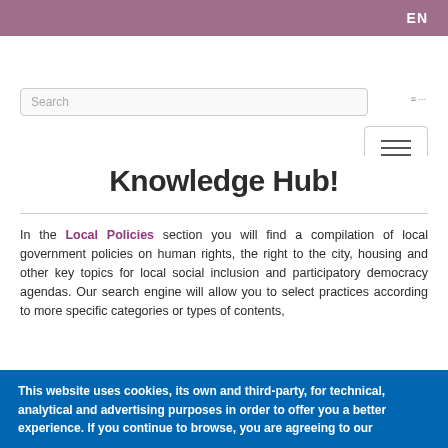EN
Knowledge Hub!
In the Local Policies section you will find a compilation of local government policies on human rights, the right to the city, housing and other key topics for local social inclusion and participatory democracy agendas. Our search engine will allow you to select practices according to more specific categories or types of contents,
This website uses cookies, its own and third-party, for technical, analytical and advertising purposes in order to offer you a better experience. If you continue to browse, you are agreeing to our